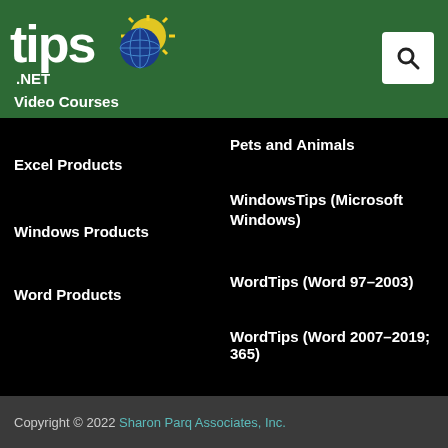tips.net
Video Courses
Excel Products
Windows Products
Word Products
Pets and Animals
WindowsTips (Microsoft Windows)
WordTips (Word 97–2003)
WordTips (Word 2007–2019; 365)
Copyright © 2022 Sharon Parq Associates, Inc.